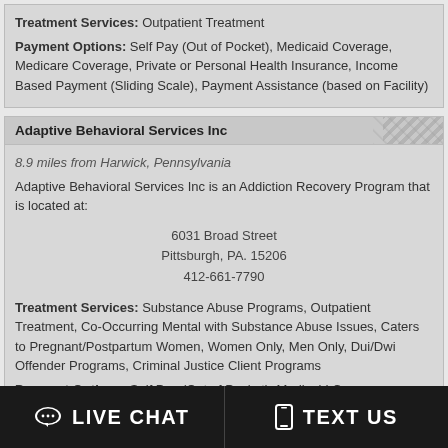Treatment Services: Outpatient Treatment Payment Options: Self Pay (Out of Pocket), Medicaid Coverage, Medicare Coverage, Private or Personal Health Insurance, Income Based Payment (Sliding Scale), Payment Assistance (based on Facility)
Adaptive Behavioral Services Inc
8.9 miles from Harwick, Pennsylvania
Adaptive Behavioral Services Inc is an Addiction Recovery Program that is located at:
6031 Broad Street
Pittsburgh, PA. 15206
412-661-7790
Treatment Services: Substance Abuse Programs, Outpatient Treatment, Co-Occurring Mental with Substance Abuse Issues, Caters to Pregnant/Postpartum Women, Women Only, Men Only, Dui/Dwi Offender Programs, Criminal Justice Client Programs
Payment Options: Self Pay (Out of Pocket), Medicaid Coverage, Private or Personal Health Insurance
Pittsburgh Pastoral Institute
LIVE CHAT | TEXT US